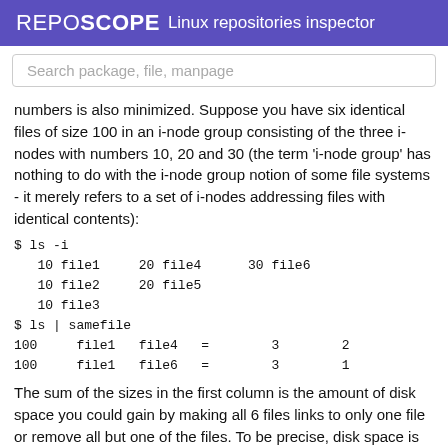REPOSCOPE  Linux repositories inspector
Search package, file, manpage
numbers is also minimized. Suppose you have six identical files of size 100 in an i-node group consisting of the three i-nodes with numbers 10, 20 and 30 (the term 'i-node group' has nothing to do with the i-node group notion of some file systems - it merely refers to a set of i-nodes addressing files with identical contents):
$ ls -i
   10 file1     20 file4      30 file6
   10 file2     20 file5
   10 file3
$ ls | samefile
100     file1   file4   =        3        2
100     file1   file6   =        3        1
The sum of the sizes in the first column is the amount of disk space you could gain by making all 6 files links to only one file or remove all but one of the files. To be precise, disk space is allocated in blocks - you will probably gain two blocks here, rather than 200 bytes. Note that it is not enough to just remove file4 and file6 (you would gain only 100 bytes because file5 still exists.) The proper way is to use the -i option. The output will look like
100     file1   file2        3        2